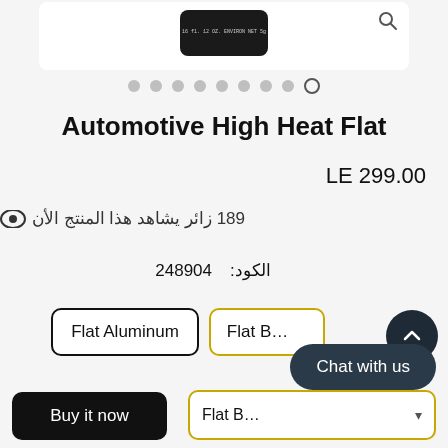[Figure (screenshot): Product image area showing a dark product can on white background with magnifier icon]
[Figure (other): Dot pagination indicator with 8 filled grey dots and 1 active/outlined dot]
Automotive High Heat Flat
LE 299.00
189 زائر يشاهد هذا المنتج الأن
الكود: 248904
Flat Aluminum | Flat B...
Chat with us
Buy it now
Flat B... ▾